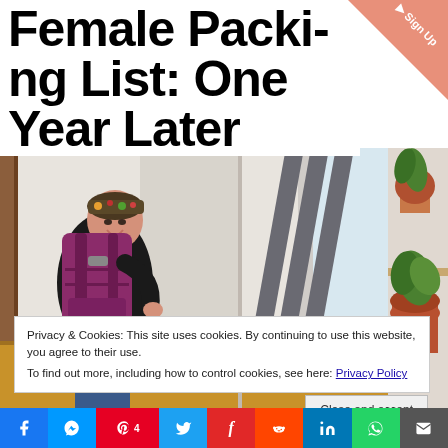Female Packing List: One Year Later
[Figure (photo): Woman wearing a purple/magenta backpack and floral headband, smiling, in an interior space with warm wood floors and white walls. Right side shows a room with plants and grey diagonal pipes/panels.]
Privacy & Cookies: This site uses cookies. By continuing to use this website, you agree to their use.
To find out more, including how to control cookies, see here: Privacy Policy
Close and accept
[Figure (infographic): Social sharing bar with icons for Facebook, Messenger, Pinterest (count: 4), Twitter, Flipboard, Reddit, LinkedIn, WhatsApp, and Email]